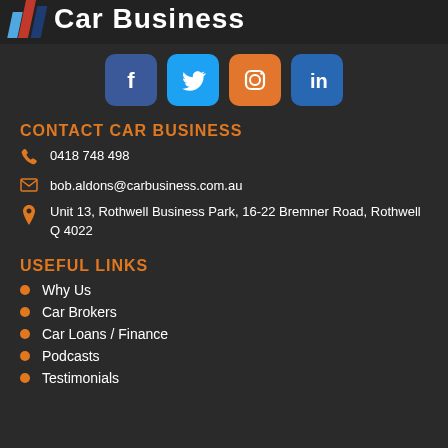[Figure (logo): Car Business logo with colored diagonal stripes and bold white text 'Car Business']
[Figure (infographic): Social media icons: Facebook (blue), Twitter (light blue), Instagram (orange), LinkedIn (blue)]
CONTACT CAR BUSINESS
0418 748 498
bob.aldons@carbusiness.com.au
Unit 13, Rothwell Business Park, 16-22 Bremner Road, Rothwell Q 4022
USEFUL LINKS
Why Us
Car Brokers
Car Loans / Finance
Podcasts
Testimonials